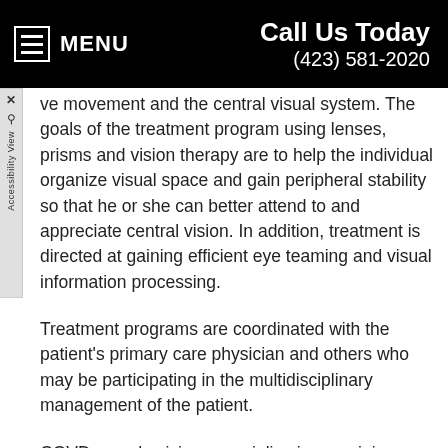MENU  |  Call Us Today  (423) 581-2020
ve movement and the central visual system. The goals of the treatment program using lenses, prisms and vision therapy are to help the individual organize visual space and gain peripheral stability so that he or she can better attend to and appreciate central vision. In addition, treatment is directed at gaining efficient eye teaming and visual information processing.
Treatment programs are coordinated with the patient's primary care physician and others who may be participating in the multidisciplinary management of the patient.
COVD eye physicians specialize in examining children and adults with developmental disabilities, including autism. Fellows of COVD are certified in the diagnosis and treatment of learning related vision problems. For further information, contact Dr. Austin Bolden at COVD...